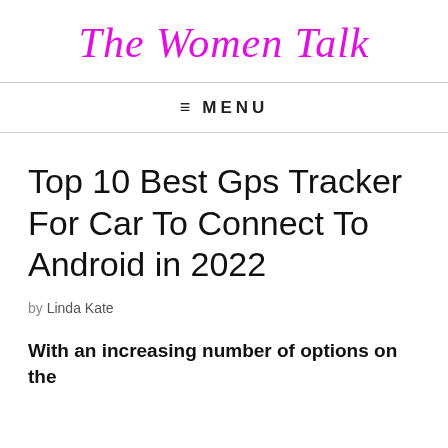The Women Talk
≡ MENU
Top 10 Best Gps Tracker For Car To Connect To Android in 2022
by Linda Kate
With an increasing number of options on the